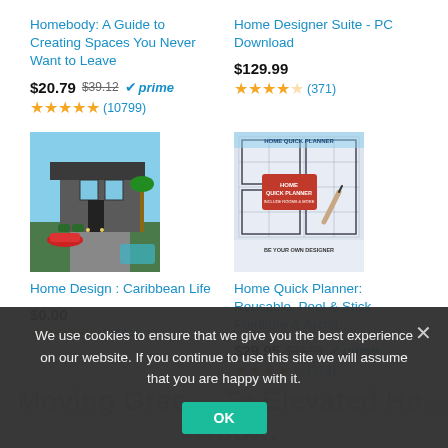Homebody: A Guide to Creating Spaces You Never Want to Leave
$20.79  $39.12  ✓prime
★★★★★ (10799)
Home Designer Suite - PC Download
$129.99
★★★★☆ (371)
[Figure (photo): Rendering of a modern Caribbean-style home exterior with palm trees, red car, and pool]
Home Design : Caribbean Life
$0.00
★★★★☆ (2939)
[Figure (photo): Home Quick Planner book cover showing architectural floor plan with a hand holding a pencil, red label saying INCLUDE ROOMS & MORE, tagline BE YOUR OWN DESIGNER]
Home Quick Planner: Reusable, Peel & Stick Furniture & Archit…
$29.95  $34.95  ✓prime
★★★★☆ (379)
We use cookies to ensure that we give you the best experience on our website. If you continue to use this site we will assume that you are happy with it.
OK
Moving Grac… To Elevated Ho… Trou…